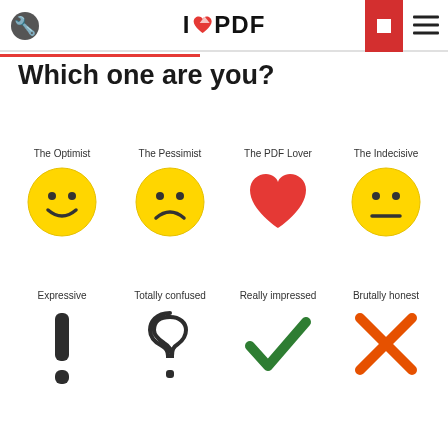I❤PDF
Which one are you?
[Figure (illustration): Four emoji-style personality icons labeled: The Optimist (yellow smiley face), The Pessimist (yellow sad face), The PDF Lover (red heart), The Indecisive (yellow neutral face)]
[Figure (illustration): Four reaction symbols labeled: Expressive (black exclamation mark), Totally confused (black question mark), Really impressed (green checkmark), Brutally honest (orange X mark)]